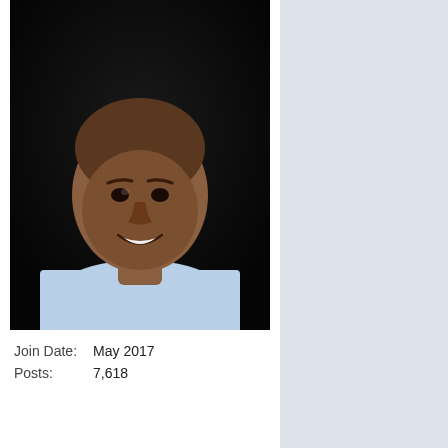[Figure (photo): Basketball player headshot - bald Black man smiling, wearing light blue jersey, dark background]
| Join Date: | May 2017 |
| Posts: | 7,618 |
05-17-2022, 11:21 AM
AusPel
Unstoppable!
[Figure (photo): Basketball player headshot - bald Black man smiling, wearing light blue jersey, dark background]
Originally Posted by P_B_& ...
1. Washington
2. Pels
3. Portland
4. Houston

I could live with this!
We get 2nd and push OKC back to